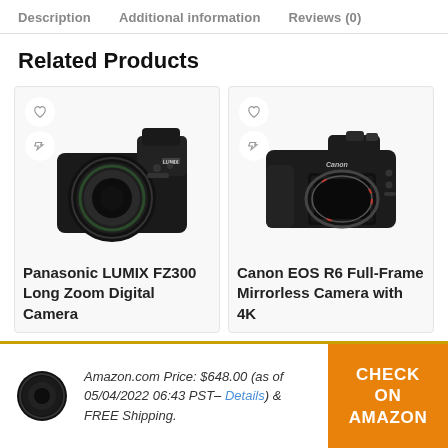Description   Additional information   Reviews (0)
Related Products
[Figure (photo): Panasonic LUMIX FZ300 camera with large zoom lens, black, with heart and compare icons]
Panasonic LUMIX FZ300 Long Zoom Digital Camera
[Figure (photo): Canon EOS R6 Full-Frame mirrorless camera body, black, with heart and compare icons]
Canon EOS R6 Full-Frame Mirrorless Camera with 4K
[Figure (photo): Black camera lens thumbnail in footer]
Amazon.com Price: $648.00 (as of 05/04/2022 06:43 PST– Details) & FREE Shipping.
CHECK ON AMAZON